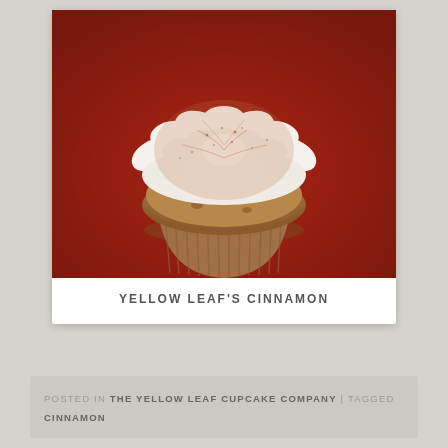[Figure (photo): A close-up photograph of a cinnamon cupcake with white cream/meringue frosting decorated with petal-like swirls and dusted with cinnamon powder, sitting on a red fabric background.]
YELLOW LEAF'S CINNAMON
POSTED IN THE YELLOW LEAF CUPCAKE COMPANY | TAGGED CINNAMON